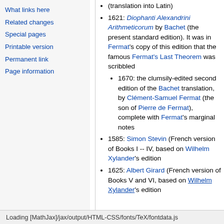What links here
Related changes
Special pages
Printable version
Permanent link
Page information
(translation into Latin)
1621: Diophanti Alexandrini Arithmeticorum by Bachet (the present standard edition). It was in Fermat's copy of this edition that the famous Fermat's Last Theorem was scribbled
1670: the clumsily-edited second edition of the Bachet translation, by Clément-Samuel Fermat (the son of Pierre de Fermat), complete with Fermat's marginal notes
1585: Simon Stevin (French version of Books I -- IV, based on Wilhelm Xylander's edition
1625: Albert Girard (French version of Books V and VI, based on Wilhelm Xylander's edition
Loading [MathJax]/jax/output/HTML-CSS/fonts/TeX/fontdata.js